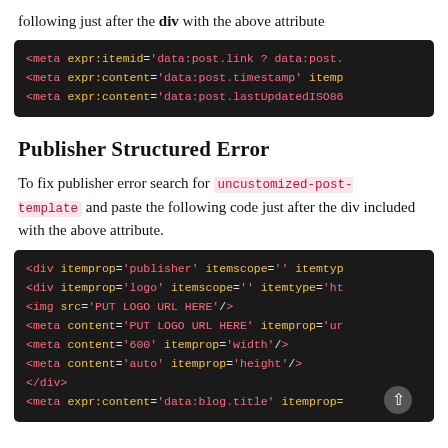following just after the div with the above attribute
[Figure (screenshot): Dark code block showing three meta tags: meta expr:itemid='data:post.link ? data:post. (truncated), meta expr:content='data:post.timestamp' itepm (truncated), meta expr:content='data:post.lastUpdatedISO86 (truncated)]
Publisher Structured Error
To fix publisher error search for uncustomized-post-template and paste the following code just after the div included with the above attribute.
[Figure (screenshot): Dark code block showing HTML for publisher structured data: div itemprop='publisher' itemscope='' itemtype (truncated), div itemprop='logo' itemscope='' itemtype='ht (truncated), img src='PUT LOGO URL HERE'/>, meta content='PUT LOGO URL HERE' itemprop='ur (truncated), meta content='600' itemprop='width'/>, meta content='auto' itemprop='height'/>, /div>, meta expr:content='data:blog.title' itemprop= (truncated)]